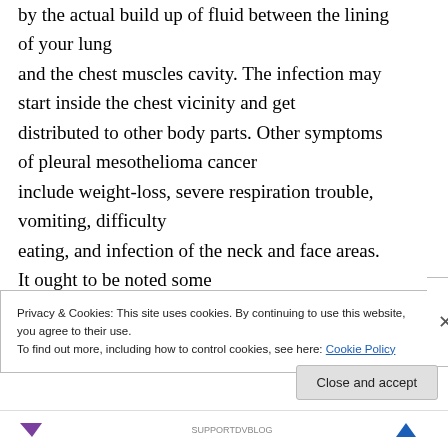by the actual build up of fluid between the lining of your lung and the chest muscles cavity. The infection may start inside the chest vicinity and get distributed to other body parts. Other symptoms of pleural mesothelioma cancer include weight-loss, severe respiration trouble, vomiting, difficulty eating, and infection of the neck and face areas. It ought to be noted some people having the disease do not experience
Privacy & Cookies: This site uses cookies. By continuing to use this website, you agree to their use. To find out more, including how to control cookies, see here: Cookie Policy
Close and accept